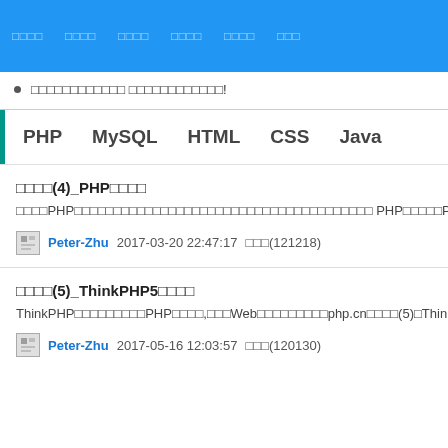□□□□  □□□□  □□□□  □□□□  □□□□  □□□
□□□□□□□□□□□□ □□□□□□□□□□□□!
PHP   MySQL   HTML   CSS   Java
□□□□(4)_PHP□□□□
□□□□PHP□□□□□□□□□□□□□□□□□□□□□□□□□□□□□□□□□□□□□□ PHP□□□□□PHP□□□□□□□□
Peter-Zhu  2017-03-20 22:47:17  □□□(121218)
□□□□(5)_ThinkPHP5□□□□
ThinkPHP□□□□□□□□□PHP□□□□,□□□Web□□□□□□□□□php.cn□□□□(5)□ThinkPHP5□
Peter-Zhu  2017-05-16 12:03:57  □□□(120130)